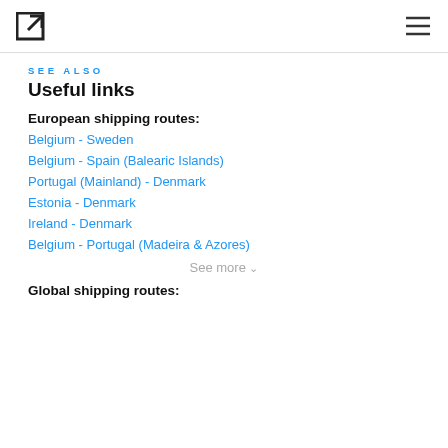[logo icon] [hamburger menu]
SEE ALSO
Useful links
European shipping routes:
Belgium - Sweden
Belgium - Spain (Balearic Islands)
Portugal (Mainland) - Denmark
Estonia - Denmark
Ireland - Denmark
Belgium - Portugal (Madeira & Azores)
See more ˅
Global shipping routes: